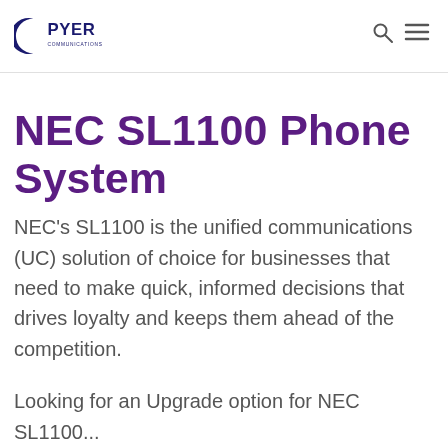Pyer Communications — navigation header with logo
NEC SL1100 Phone System
NEC's SL1100 is the unified communications (UC) solution of choice for businesses that need to make quick, informed decisions that drives loyalty and keeps them ahead of the competition.
Looking for an Upgrade option for NEC SL1100...